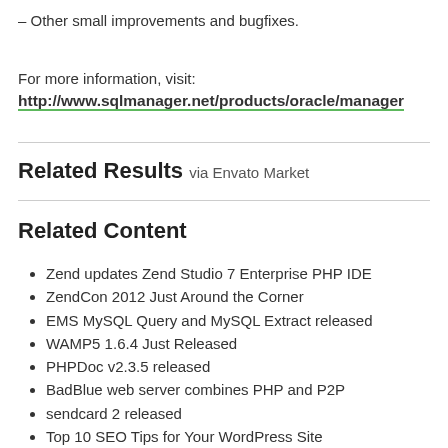– Other small improvements and bugfixes.
For more information, visit:
http://www.sqlmanager.net/products/oracle/manager
Related Results via Envato Market
Related Content
Zend updates Zend Studio 7 Enterprise PHP IDE
ZendCon 2012 Just Around the Corner
EMS MySQL Query and MySQL Extract released
WAMP5 1.6.4 Just Released
PHPDoc v2.3.5 released
BadBlue web server combines PHP and P2P
sendcard 2 released
Top 10 SEO Tips for Your WordPress Site
Meditate 1.3 CMS Released for PHP
Using the PHP/Java Bridge to Combine PHP and